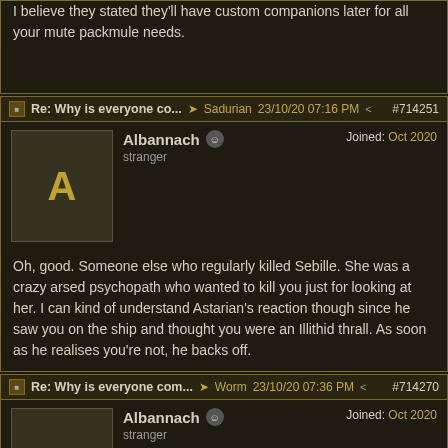I believe they stated they'll have custom companions later for all your mute packmule needs.
Re: Why is everyone co... → Sadurian 23/10/20 07:16 PM < #714251
Albannach
stranger
Joined: Oct 2020
Oh, good. Someone else who regularly killed Sebille. She was a crazy arsed psychopath who wanted to kill you just for looking at her. I can kind of understand Astarian's reaction though since he saw you on the ship and thought you were an Illithid thrall. As soon as he realises you're not, he backs off.
Re: Why is everyone com... → Worm 23/10/20 07:36 PM < #714270
Albannach
stranger
Joined: Oct 2020
My Tyr cleric got one or two pieces of God specific dialogue, so some exists if not much. I would like to see more.